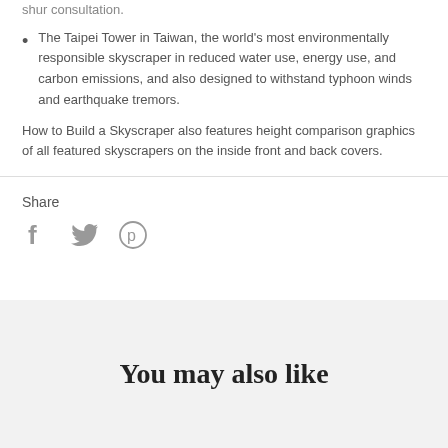shur consultation.
The Taipei Tower in Taiwan, the world's most environmentally responsible skyscraper in reduced water use, energy use, and carbon emissions, and also designed to withstand typhoon winds and earthquake tremors.
How to Build a Skyscraper also features height comparison graphics of all featured skyscrapers on the inside front and back covers.
Share
[Figure (illustration): Three social media icons: Facebook (f), Twitter (bird), Pinterest (p) in gray]
You may also like